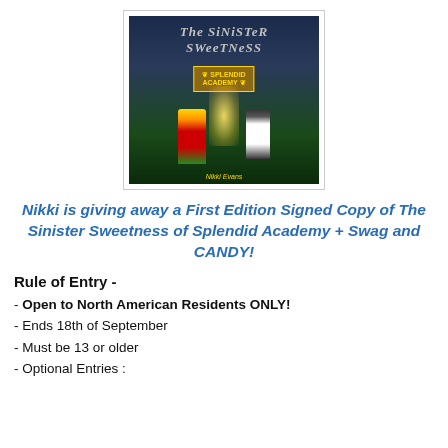[Figure (illustration): Book cover of 'The Sinister Sweetness of Splendid Academy' showing a dark haunted house with two children standing in front, one girl with blonde hair in red dress and one boy in white shirt, with glowing doorway and spooky trees.]
Nikki is giving away a First Edition Signed Copy of The Sinister Sweetness of Splendid Academy + Swag and CANDY!
Rule of Entry -
- Open to North American Residents ONLY!
- Ends 18th of September
- Must be 13 or older
- Optional Entries :